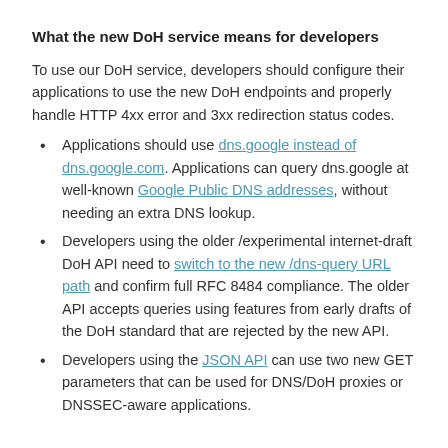What the new DoH service means for developers
To use our DoH service, developers should configure their applications to use the new DoH endpoints and properly handle HTTP 4xx error and 3xx redirection status codes.
Applications should use dns.google instead of dns.google.com. Applications can query dns.google at well-known Google Public DNS addresses, without needing an extra DNS lookup.
Developers using the older /experimental internet-draft DoH API need to switch to the new /dns-query URL path and confirm full RFC 8484 compliance. The older API accepts queries using features from early drafts of the DoH standard that are rejected by the new API.
Developers using the JSON API can use two new GET parameters that can be used for DNS/DoH proxies or DNSSEC-aware applications.